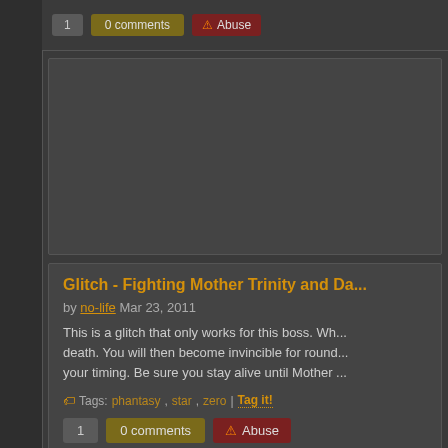[Figure (screenshot): Dark themed website top bar with vote button, 0 comments button, and Abuse button]
[Figure (screenshot): Dark gray advertisement block, empty]
Glitch - Fighting Mother Trinity and Da...
by no-life Mar 23, 2011
This is a glitch that only works for this boss. Wh... death. You will then become invincible for round... your timing. Be sure you stay alive until Mother ...
Tags: phantasy, star, zero | Tag it!
1   0 comments   Abuse
Secret - Secret of the White Shadowed R...
by Aldermar Aug 06, 2010
Okay, so players found monsters with a "White S... you should know this as well. Have you noticed ... is gonna get ugly..." ~Kai, "More Mutants..." ~Ro...